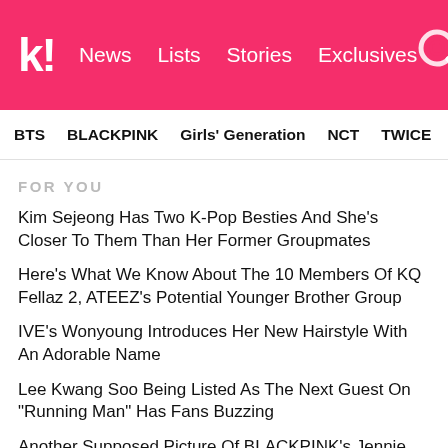Koreaboo | News | Lists | Stories | Exclusives
BTS | BLACKPINK | Girls' Generation | NCT | TWICE | aespa
FOR YOU
Kim Sejeong Has Two K-Pop Besties And She's Closer To Them Than Her Former Groupmates
Here's What We Know About The 10 Members Of KQ Fellaz 2, ATEEZ's Potential Younger Brother Group
IVE's Wonyoung Introduces Her New Hairstyle With An Adorable Name
Lee Kwang Soo Being Listed As The Next Guest On "Running Man" Has Fans Buzzing
Another Supposed Picture Of BLACKPINK's Jennie And BTS's V Is Leaked — This Time Together In V's Apartment